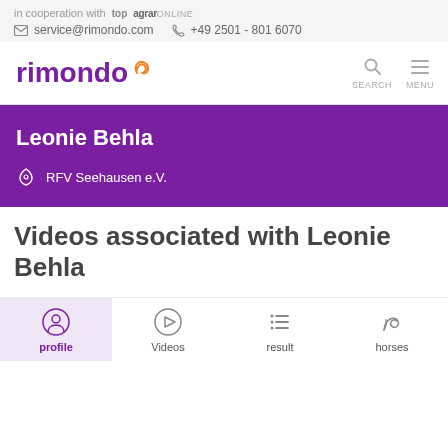in cooperation with top agrar ONLINE
service@rimondo.com   +49 2501 - 801 6070
[Figure (logo): rimondo logo with orange accent mark]
Leonie Behla
RFV Seehausen e.V.
Videos associated with Leonie Behla
profile   Videos   result   horses